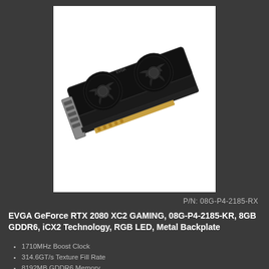[Figure (photo): EVGA GeForce RTX 2080 XC2 Gaming graphics card with dual fans, shown on white background at an angle]
P/N: 08G-P4-2185-RX
EVGA GeForce RTX 2080 XC2 GAMING, 08G-P4-2185-KR, 8GB GDDR6, iCX2 Technology, RGB LED, Metal Backplate
1710MHz Boost Clock
314.6GT/s Texture Fill Rate
8192MB GDDR6 Memory
8192MHz Memory Clock